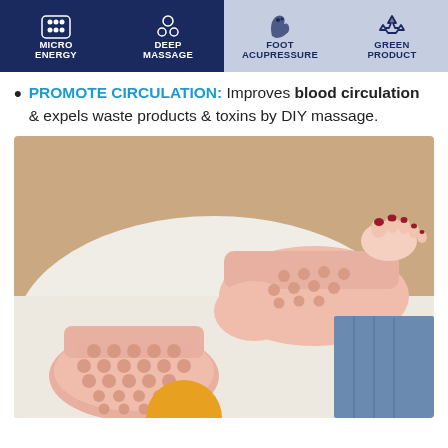[Figure (infographic): Infographic bar showing four features: MICRO ENERGY, DEEP MASSAGE (dark blue background), FOOT ACUPRESSURE, GREEN PRODUCT (light blue/gray background), each with an icon above the label text.]
PROMOTE CIRCULATION: Improves blood circulation & expels waste products & toxins by DIY massage.
[Figure (photo): Photo of pink acupressure massage slippers/sandals being worn by a person with red toenail polish, showing the bubble/dot textured insole pattern on both sandals.]